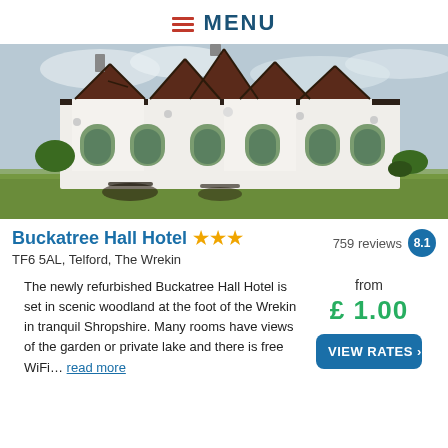≡ MENU
[Figure (photo): Exterior photo of Buckatree Hall Hotel, a white Tudor-style building with dark timber framing, multiple gabled dormers, arched windows, and outdoor seating on a green lawn.]
Buckatree Hall Hotel ★★★
TF6 5AL, Telford, The Wrekin
759 reviews 8.1
The newly refurbished Buckatree Hall Hotel is set in scenic woodland at the foot of the Wrekin in tranquil Shropshire. Many rooms have views of the garden or private lake and there is free WiFi… read more
from £ 1.00
VIEW RATES >